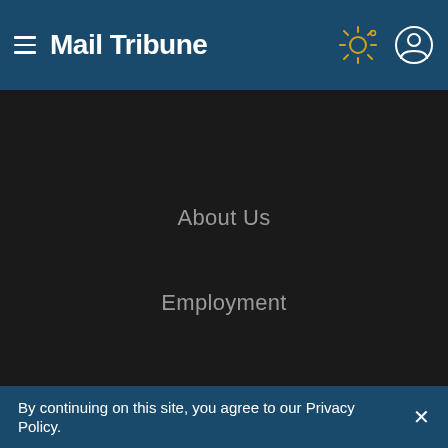Mail Tribune
About Us
Employment
Contact Us
By continuing on this site, you agree to our Privacy Policy.